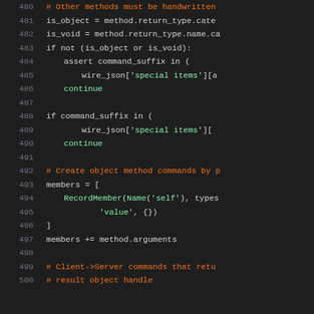Source code listing lines 480-500, Python code with syntax highlighting showing object method handling logic
[Figure (screenshot): Python source code editor view showing lines 480-500 with syntax highlighting on dark background. Code includes comments in orange, strings in green, keywords and identifiers in light gray. Content includes conditional logic for is_object/is_void, command_suffix checks, wire_json special items references, continue statements, member list construction with RecordMember and method arguments handling.]